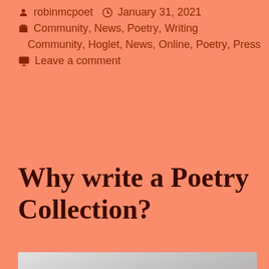robinmcpoet   January 31, 2021
Community, News, Poetry, Writing
Community, Hoglet, News, Online, Poetry, Press
Leave a comment
Why write a Poetry Collection?
[Figure (photo): A light grey/white photo or paper image, partially visible at the bottom of the page]